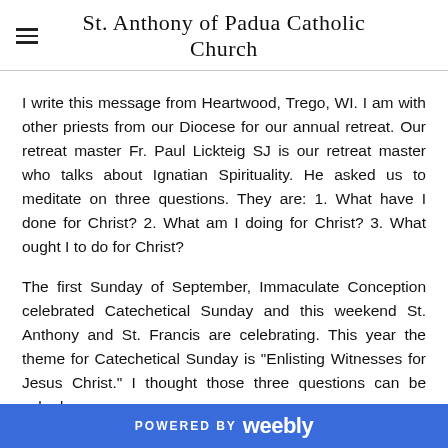St. Anthony of Padua Catholic Church
I write this message from Heartwood, Trego, WI. I am with other priests from our Diocese for our annual retreat. Our retreat master Fr. Paul Lickteig SJ is our retreat master who talks about Ignatian Spirituality. He asked us to meditate on three questions. They are: 1. What have I done for Christ? 2. What am I doing for Christ? 3. What ought I to do for Christ?
The first Sunday of September, Immaculate Conception celebrated Catechetical Sunday and this weekend St. Anthony and St. Francis are celebrating. This year the theme for Catechetical Sunday is "Enlisting Witnesses for Jesus Christ." I thought those three questions can be asked
POWERED BY weebly